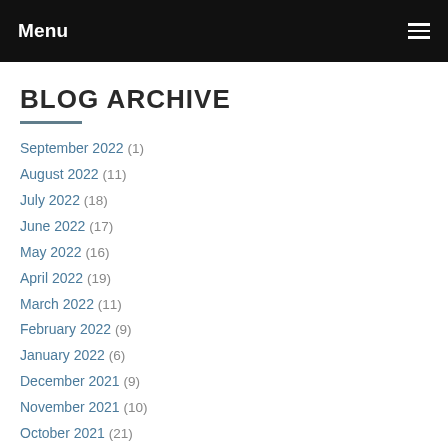Menu
BLOG ARCHIVE
September 2022 (1)
August 2022 (11)
July 2022 (18)
June 2022 (17)
May 2022 (16)
April 2022 (19)
March 2022 (11)
February 2022 (9)
January 2022 (6)
December 2021 (9)
November 2021 (10)
October 2021 (21)
September 2021 (10)
August 2021 (2)